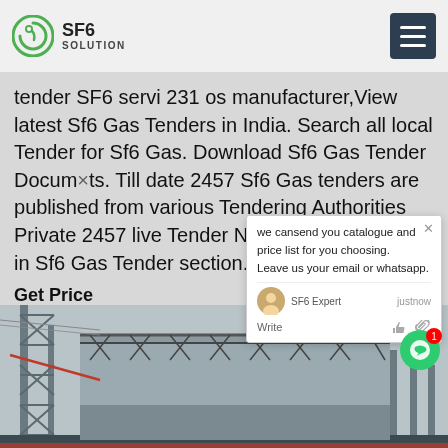SF6 SOLUTION
tender SF6 servi 231 os manufacturer,View latest Sf6 Gas Tenders in India. Search all local Tender for Sf6 Gas. Download Sf6 Gas Tender Documents. Till date 2457 Sf6 Gas tenders are published from various Tendering Authorities Private 2457 live Tender Notices for Sf6 Gas in Sf6 Gas Tender section.
Get Price
we cansend you catalogue and price list for you choosing.
Leave us your email or whatsapp.

SF6 Expert   justnow
Write
[Figure (photo): Industrial electrical substation or transmission facility with steel lattice structures, high-voltage towers, and large building with metal roof framework visible against overcast sky.]